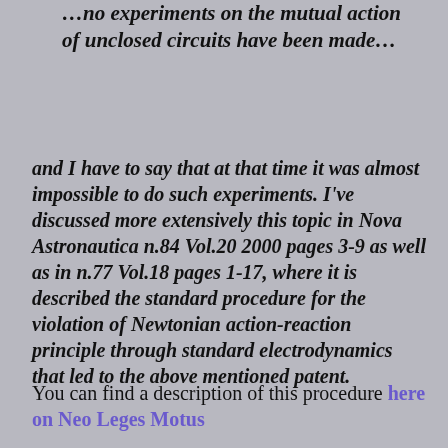…no experiments on the mutual action of unclosed circuits have been made…
and I have to say that at that time it was almost impossible to do such experiments. I've discussed more extensively this topic in Nova Astronautica n.84 Vol.20 2000 pages 3-9 as well as in n.77 Vol.18 pages 1-17, where it is described the standard procedure for the violation of Newtonian action-reaction principle through standard electrodynamics that led to the above mentioned patent.
You can find a description of this procedure here on Neo Leges Motus